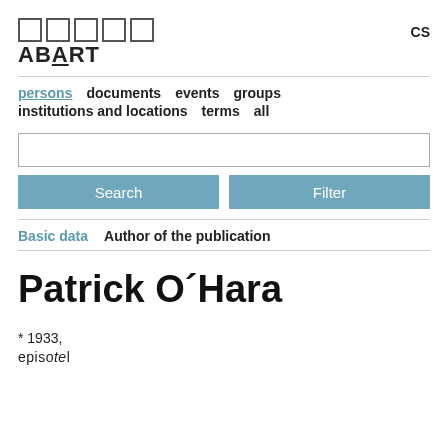ABART  CS
persons  documents  events  groups  institutions and locations  terms  all
Basic data  Author of the publication
Patrick O´Hara
* 1933,